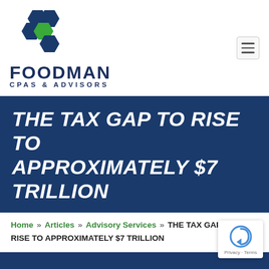[Figure (logo): Foodman CPAs & Advisors logo with hexagon cluster in blue and green]
THE TAX GAP TO RISE TO APPROXIMATELY $7 TRILLION
Home » Articles » Advisory Services » THE TAX GAP TO RISE TO APPROXIMATELY $7 TRILLION